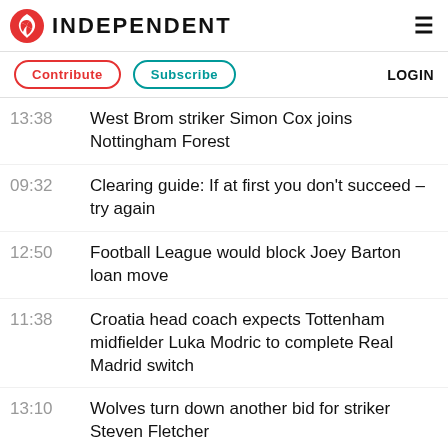INDEPENDENT
Contribute | Subscribe | LOGIN
13:38 — West Brom striker Simon Cox joins Nottingham Forest
09:32 — Clearing guide: If at first you don't succeed – try again
12:50 — Football League would block Joey Barton loan move
11:38 — Croatia head coach expects Tottenham midfielder Luka Modric to complete Real Madrid switch
13:10 — Wolves turn down another bid for striker Steven Fletcher
13:08 — Revisiting Team GB's 'up-and-comers': Did their Olympic dreams come true?